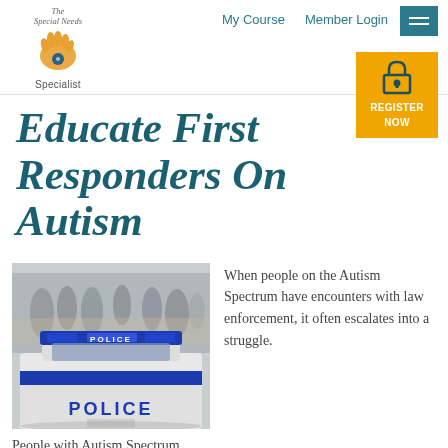My Course   Member Login
[Figure (logo): The Special Needs Specialist logo with hand print icon]
Educate First Responders On Autism
[Figure (photo): Police car with POLICE text on back and top light bar, crowd in background]
When people on the Autism Spectrum have encounters with law enforcement, it often escalates into a struggle.
People with Autism Spectrum